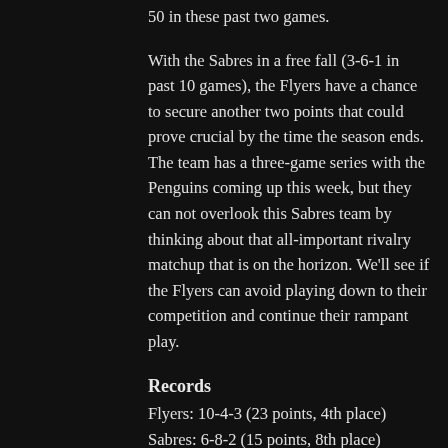50 in these past two games.
With the Sabres in a free fall (3-6-1 in past 10 games), the Flyers have a chance to secure another two points that could prove crucial by the time the season ends. The team has a three-game series with the Penguins coming up this week, but they can not overlook this Sabres team by thinking about that all-important rivalry matchup that is on the horizon. We'll see if the Flyers can avoid playing down to their competition and continue their rampant play.
Records
Flyers: 10-4-3 (23 points, 4th place)
Sabres: 6-8-2 (15 points, 8th place)